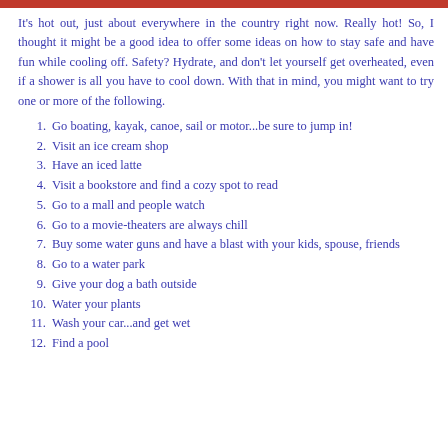It's hot out, just about everywhere in the country right now. Really hot! So, I thought it might be a good idea to offer some ideas on how to stay safe and have fun while cooling off. Safety? Hydrate, and don't let yourself get overheated, even if a shower is all you have to cool down. With that in mind, you might want to try one or more of the following.
1. Go boating, kayak, canoe, sail or motor...be sure to jump in!
2. Visit an ice cream shop
3. Have an iced latte
4. Visit a bookstore and find a cozy spot to read
5. Go to a mall and people watch
6. Go to a movie-theaters are always chill
7. Buy some water guns and have a blast with your kids, spouse, friends
8. Go to a water park
9. Give your dog a bath outside
10. Water your plants
11. Wash your car...and get wet
12. Find a pool